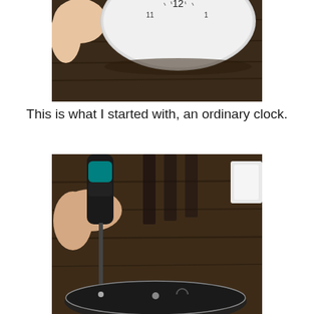[Figure (photo): A hand holding a round white clock face viewed from above, on a dark wooden table surface. The clock face shows numbers near the top.]
This is what I started with, an ordinary clock.
[Figure (photo): A hand holding a screwdriver pointing down toward the back of a round clock, which is sitting on a dark wooden table. The back of the clock is dark/black metal with a small screw visible.]